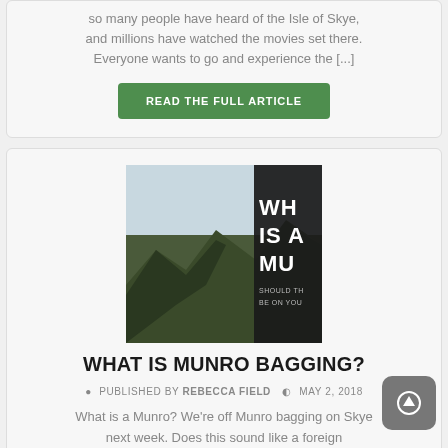so many people have heard of the Isle of Skye, and millions have watched the movies set there. Everyone wants to go and experience the [...]
READ THE FULL ARTICLE
[Figure (photo): Mountain landscape photo partially overlaid with a dark panel showing text 'WHAT IS A MUNRO' and 'SHOULD THIS BE ON YOUR']
WHAT IS MUNRO BAGGING?
PUBLISHED BY REBECCA FIELD   MAY 2, 2018
What is a Munro? We're off Munro bagging on Skye next week. Does this sound like a foreign language to you? If so we thought [...]